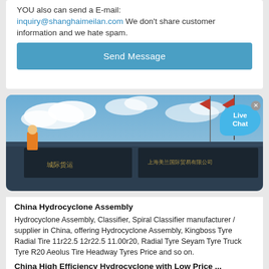YOU also can send a E-mail: inquiry@shanghaimeilan.com We don’t share customer information and we hate spam.
Send Message
[Figure (photo): Photo of heavy industrial machinery or truck with flags (red-yellow-green flag and red flag) against a blue cloudy sky, with Chinese text on the vehicle body.]
Live Chat
China Hydrocyclone Assembly
Hydrocyclone Assembly, Classifier, Spiral Classifier manufacturer / supplier in China, offering Hydrocyclone Assembly, Kingboss Tyre Radial Tire 11r22.5 12r22.5 11.00r20, Radial Tyre Seyam Tyre Truck Tyre R20 Aeolus Tire Headway Tyres Price and so on.
China High Efficiency Hydrocyclone with Low Price ...
Shanghai , China. HS Code. 8474209000. Product Description. Hydrocyclone Introduction. Hydrocyclone is a kind of equipment used for grading the ore pulp by using centrifugal force. Without motion and power unit, it needs to